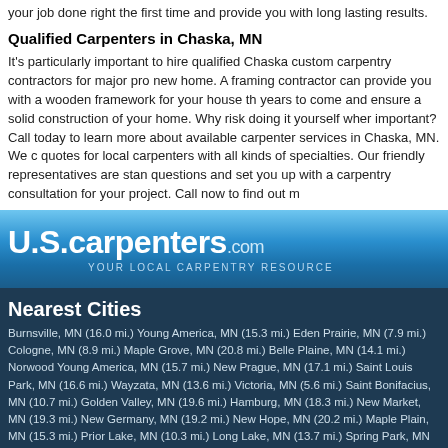your job done right the first time and provide you with long lasting results.
Qualified Carpenters in Chaska, MN
It's particularly important to hire qualified Chaska custom carpentry contractors for major pro new home. A framing contractor can provide you with a wooden framework for your house th years to come and ensure a solid construction of your home. Why risk doing it yourself wher important? Call today to learn more about available carpenter services in Chaska, MN. We c quotes for local carpenters with all kinds of specialties. Our friendly representatives are stan questions and set you up with a carpentry consultation for your project. Call now to find out m
[Figure (logo): U.S.carpenters.com logo with tagline YOUR LOCAL CARPENTRY RESOURCE on a blue gradient banner]
Nearest Cities
Burnsville, MN (16.0 mi.) Young America, MN (15.3 mi.) Eden Prairie, MN (7.9 mi.) Cologne, MN (8.9 mi.) Maple Grove, MN (20.8 mi.) Belle Plaine, MN (14.1 mi.) Norwood Young America, MN (15.7 mi.) New Prague, MN (17.1 mi.) Saint Louis Park, MN (16.6 mi.) Wayzata, MN (13.6 mi.) Victoria, MN (5.6 mi.) Saint Bonifacius, MN (10.7 mi.) Golden Valley, MN (19.6 mi.) Hamburg, MN (18.3 mi.) New Market, MN (19.3 mi.) New Germany, MN (19.2 mi.) New Hope, MN (20.2 mi.) Maple Plain, MN (15.3 mi.) Prior Lake, MN (10.3 mi.) Long Lake, MN (13.7 mi.) Spring Park, MN (10.2 mi.) Mound, MN (10.6 mi.) Watertown, MN (17.0 mi.) Mayer, MN (15.5 mi.) Shakopee, MN (3.7 mi.) Minnetonka, MN (9.8 mi.) Chanhassen, MN (6.1 mi.) Spring Lake, MN (8.9 mi.) Minnetonka Beach, MN (10.5 mi.) Lakeville, MN (20.1 mi.) Apple Valley, MN (19.3 mi.) Delano, MN (19.7 mi.) Elko, MN (20.6 mi.) Hopkins, MN (11.6 mi.) Minneapolis, MN (21.2 mi.) Crystal Bay, MN (11.4 mi.) Edina, MN (14.2 mi.) Richfield, MN (16.9 mi.) Norwood, MN (16.0 mi.) Hamel, MN (17.8 mi.) Plymouth, MN (16.9 mi.) Jordan, MN (8.6 mi.) Waconia, MN (10.0 mi.) Loretto, MN (18.4 mi.) Savage, MN (13.1 mi.) Robbinsdale, MN (21.2 mi.) Crystal, MN (20.6 mi.) Excelsior, MN (8.1 mi.) Bloomington, MN (15.3 mi.) Carver, MN (2.1 mi.)